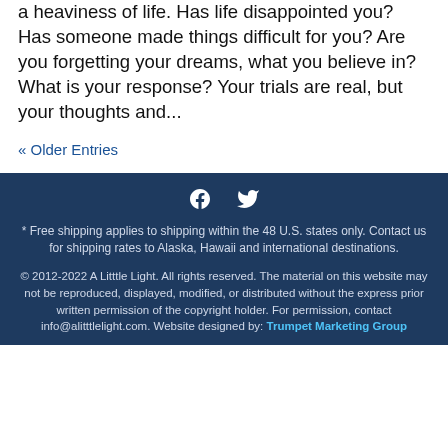a heaviness of life.  Has life disappointed you?  Has someone made things difficult for you?  Are you forgetting your dreams, what you believe in?  What is your response?  Your trials are real, but your thoughts and...
« Older Entries
[Figure (illustration): Facebook and Twitter social media icons in white on dark navy background]
* Free shipping applies to shipping within the 48 U.S. states only. Contact us for shipping rates to Alaska, Hawaii and international destinations.
© 2012-2022 A Litttle Light. All rights reserved. The material on this website may not be reproduced, displayed, modified, or distributed without the express prior written permission of the copyright holder. For permission, contact info@alitttlelight.com. Website designed by: Trumpet Marketing Group